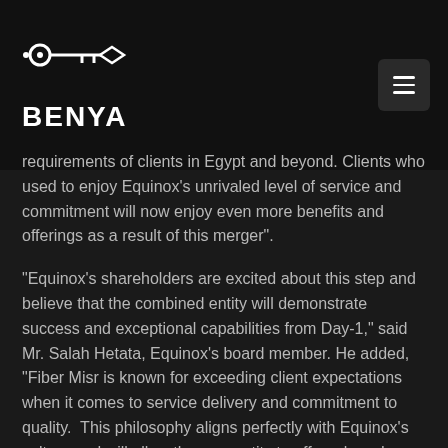BENYA
requirements of clients in Egypt and beyond. Clients who used to enjoy Equinox’s unrivaled level of service and commitment will now enjoy even more benefits and offerings as a result of this merger”.
“Equinox’s shareholders are excited about this step and believe that the combined entity will demonstrate success and exceptional capabilities from Day-1,” said Mr. Salah Hetata, Equinox’s board member. He added, “Fiber Misr is known for exceeding client expectations when it comes to service delivery and commitment to quality.  This philosophy aligns perfectly with Equinox’s culture and will allow the new entity to offer a broad range of offerings building on the long history of the Group and its founders in the Technology field across the MEA region. The best is yet to come”.
It is worth noting that the ICT sector in Egypt has achieved